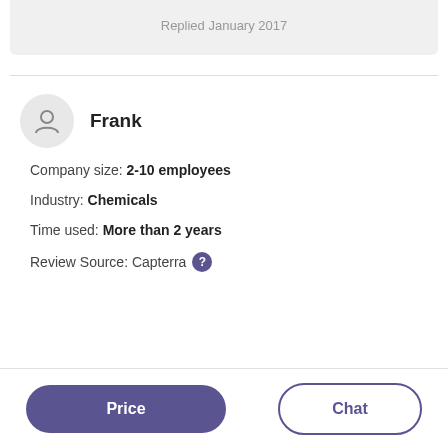Replied January 2017
Frank
Company size: 2-10 employees
Industry: Chemicals
Time used: More than 2 years
Review Source: Capterra
Price
Chat